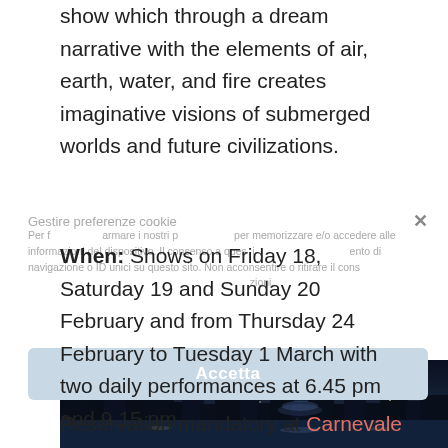show which through a dream narrative with the elements of air, earth, water, and fire creates imaginative visions of submerged worlds and future civilizations.
When: Shows on Friday 18, Saturday 19 and Sunday 20 February and from Thursday 24 February to Tuesday 1 March with two daily performances at 6.45 pm and 9.15 pm.
Reservation mandatory at Carnevale di Venezia.
[Figure (photo): Night cityscape of Venice with dark skyline and city lights reflecting on water]